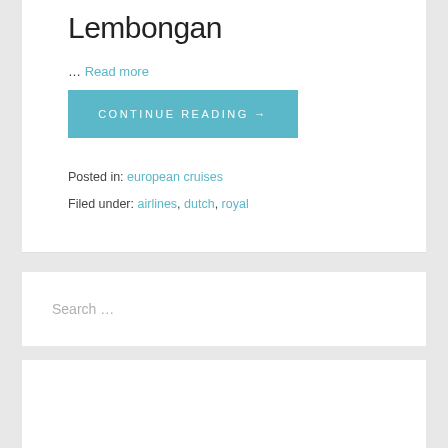Lembongan
… Read more
CONTINUE READING →
Posted in: european cruises
Filed under: airlines, dutch, royal
Search …